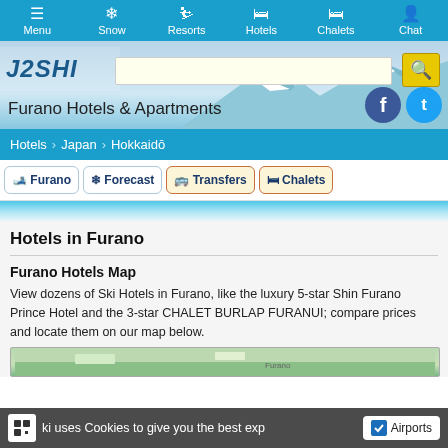Menu | Snow | Resorts | Hotels | Chalets | Chat
Furano Hotels & Apartments
Hotels > Japan > Hokkaidō
🎿 Furano | ❄ Forecast | 🚌 Transfers | 🛏 Chalets
Hotels in Furano
Furano Hotels Map
View dozens of Ski Hotels in Furano, like the luxury 5-star Shin Furano Prince Hotel and the 3-star CHALET BURLAP FURANUI; compare prices and locate them on our map below.
J2Ski uses Cookies to give you the best exp
✓ Airports